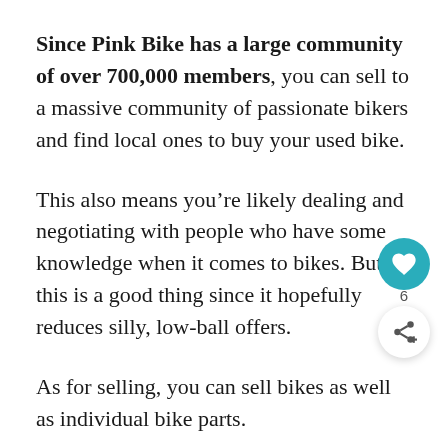Since Pink Bike has a large community of over 700,000 members, you can sell to a massive community of passionate bikers and find local ones to buy your used bike.
This also means you're likely dealing and negotiating with people who have some knowledge when it comes to bikes. But this is a good thing since it hopefully reduces silly, low-ball offers.
As for selling, you can sell bikes as well as individual bike parts.
Posting an ad on Pink Bike is simple and free. Just sign up on their website and click on the 'Post Ad' button. Follow the quick and easy steps to publish